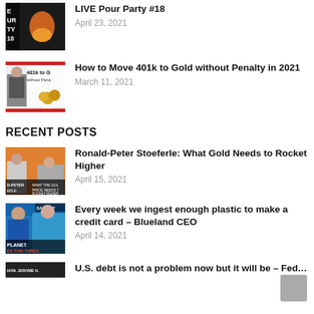[Figure (photo): Thumbnail image of molten gold being poured, with text overlay about LIVE Pour Party #18]
LIVE Pour Party #18
April 23, 2021
[Figure (photo): Thumbnail image with text '401k to G without Pena' and gold coins, man in suit]
How to Move 401k to Gold without Penalty in 2021
March 11, 2021
RECENT POSTS
[Figure (photo): Thumbnail showing two people with text 'D-PETER ERLE: WHAT THE GOLD PRICE NEEDS TO ROCKET HIGHER']
Ronald-Peter Stoeferle: What Gold Needs to Rocket Higher
April 15, 2021
[Figure (photo): Thumbnail with SARAH and PLANET text, news broadcast style, 'ES THIS THREA']
Every week we ingest enough plastic to make a credit card – Blueland CEO
April 14, 2021
[Figure (photo): Thumbnail with 'HON. JEROME H.' partially visible at bottom]
U.S. debt is not a problem now but it will be – Fed...